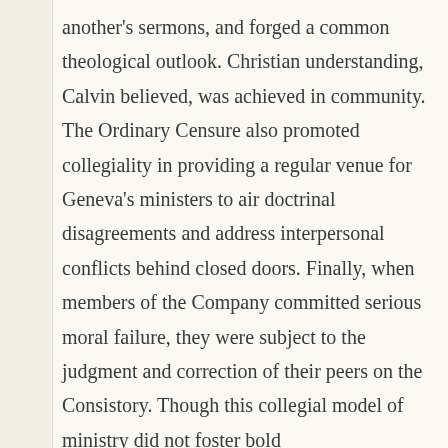another's sermons, and forged a common theological outlook. Christian understanding, Calvin believed, was achieved in community. The Ordinary Censure also promoted collegiality in providing a regular venue for Geneva's ministers to air doctrinal disagreements and address interpersonal conflicts behind closed doors. Finally, when members of the Company committed serious moral failure, they were subject to the judgment and correction of their peers on the Consistory. Though this collegial model of ministry did not foster bold